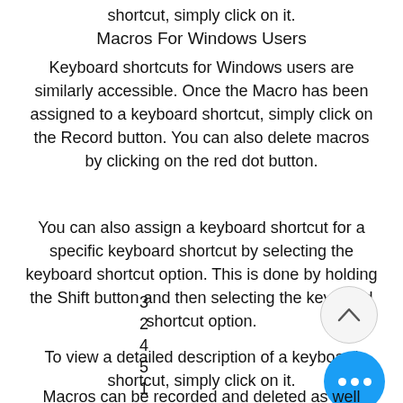shortcut, simply click on it.
Macros For Windows Users
Keyboard shortcuts for Windows users are similarly accessible. Once the Macro has been assigned to a keyboard shortcut, simply click on the Record button. You can also delete macros by clicking on the red dot button.
You can also assign a keyboard shortcut for a specific keyboard shortcut by selecting the keyboard shortcut option. This is done by holding the Shift button and then selecting the keyboard shortcut option.
To view a detailed description of a keyboard shortcut, simply click on it.
3
2
4
5
1
Macros can be recorded and deleted as well